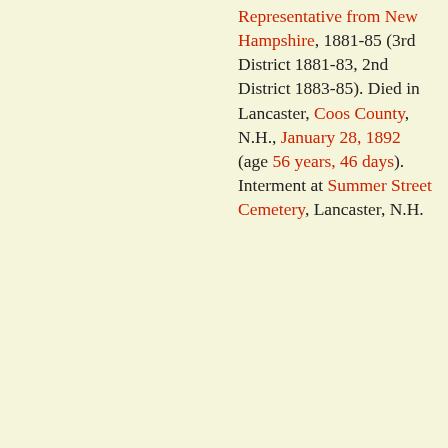Representative from New Hampshire, 1881-85 (3rd District 1881-83, 2nd District 1883-85). Died in Lancaster, Coos County, N.H., January 28, 1892 (age 56 years, 46 days). Interment at Summer Street Cemetery, Lancaster, N.H.
Relatives: Son of George W. Ray (1805-1889) and Hannah (Greene) Ray (1809-1847); married, March 2, 1856, to Alice A. Fling; married, October 16, 1872, to Sally Emery (Small) Burnside; grandfather of Ossian Edward Ray; first cousin five times removed of